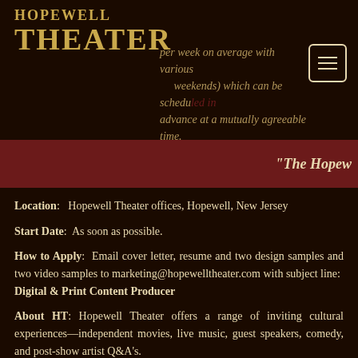Hopewell Theater
...per week on average with various (weekends) which can be scheduled in advance at a mutually agreeable time.
"The Hopew
Location: Hopewell Theater offices, Hopewell, New Jersey
Start Date: As soon as possible.
How to Apply: Email cover letter, resume and two design samples and two video samples to marketing@hopewelltheater.com with subject line: Digital & Print Content Producer
About HT: Hopewell Theater offers a range of inviting cultural experiences—independent movies, live music, guest speakers, comedy, and post-show artist Q&A's.